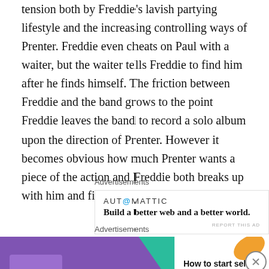tension both by Freddie's lavish partying lifestyle and the increasing controlling ways of Prenter. Freddie even cheats on Paul with a waiter, but the waiter tells Freddie to find him after he finds himself. The friction between Freddie and the band grows to the point Freddie leaves the band to record a solo album upon the direction of Prenter. However it becomes obvious how much Prenter wants a piece of the action and Freddie both breaks up with him and fires him.
Advertisements
[Figure (other): Automattic advertisement: logo showing 'AUT@MATTIC' and tagline 'Build a better web and a better world.']
Soon Freddie learns he has HIV right when the devastating
Advertisements
[Figure (other): WooCommerce advertisement banner with purple background, teal arrow shape, text 'How to start selling subscriptions online', orange and blue decorative leaf shapes.]